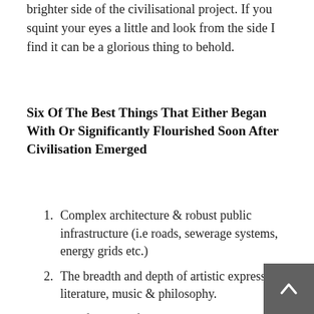brighter side of the civilisational project. If you squint your eyes a little and look from the side I find it can be a glorious thing to behold.
Six Of The Best Things That Either Began With Or Significantly Flourished Soon After Civilisation Emerged
Complex architecture & robust public infrastructure (i.e roads, sewerage systems, energy grids etc.)
The breadth and depth of artistic expression, literature, music & philosophy.
Codified legal frameworks.